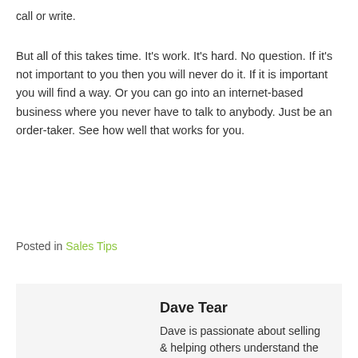call or write.
But all of this takes time. It's work. It's hard. No question. If it's not important to you then you will never do it. If it is important you will find a way. Or you can go into an internet-based business where you never have to talk to anybody. Just be an order-taker. See how well that works for you.
Posted in Sales Tips
Dave Tear
Dave is passionate about selling & helping others understand the